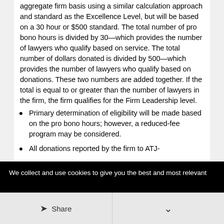aggregate firm basis using a similar calculation approach and standard as the Excellence Level, but will be based on a 30 hour or $500 standard. The total number of pro bono hours is divided by 30—which provides the number of lawyers who qualify based on service. The total number of dollars donated is divided by 500—which provides the number of lawyers who qualify based on donations. These two numbers are added together. If the total is equal to or greater than the number of lawyers in the firm, the firm qualifies for the Firm Leadership level.
Primary determination of eligibility will be made based on the pro bono hours; however, a reduced-fee program may be considered.
All donations reported by the firm to ATJ-
We collect and use cookies to give you the best and most relevant